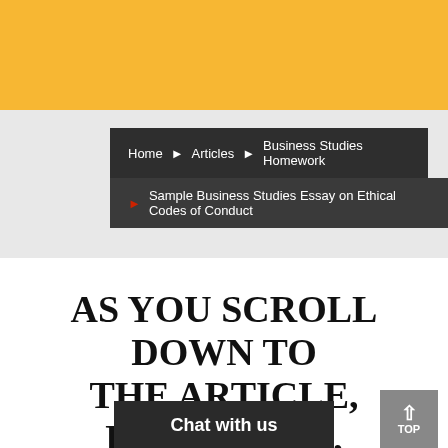Home ▶ Articles ▶ Business Studies Homework
▶ Sample Business Studies Essay on Ethical Codes of Conduct
AS YOU SCROLL DOWN TO THE ARTICLE, REMEMBER, WE CAN WRITE YOUR ASSIGNMENT AND GET YOU AN A GRADE!
Chat with us